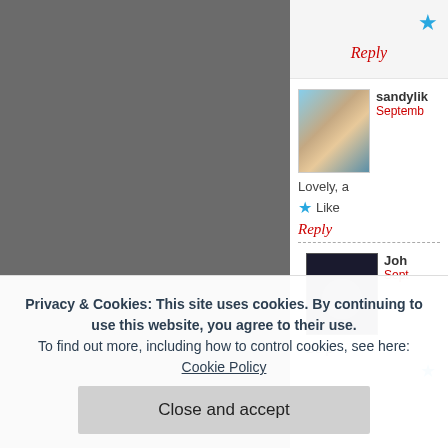[Figure (photo): Gray photo area on the left side of the page, appears to be a partially visible photograph with torn/rough edge on the right side]
[Figure (screenshot): Blog comment section showing two user comments. First comment by 'sandylik' with avatar (woman in hat on beach), date starting 'Septemb', comment text starting 'Lovely, a', Like button with blue star. Reply link in red. Dashed divider. Second comment by 'Joh' with dark avatar, date starting 'Sept', comment text starting 'Be p'. Blue star icon at bottom right.]
Privacy & Cookies: This site uses cookies. By continuing to use this website, you agree to their use.
To find out more, including how to control cookies, see here: Cookie Policy
Close and accept